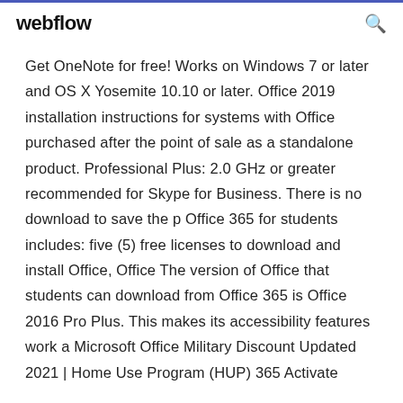webflow
Get OneNote for free! Works on Windows 7 or later and OS X Yosemite 10.10 or later. Office 2019 installation instructions for systems with Office purchased after the point of sale as a standalone product. Professional Plus: 2.0 GHz or greater recommended for Skype for Business. There is no download to save the p Office 365 for students includes: five (5) free licenses to download and install Office, Office The version of Office that students can download from Office 365 is Office 2016 Pro Plus. This makes its accessibility features work a Microsoft Office Military Discount Updated 2021 | Home Use Program (HUP) 365 Activate